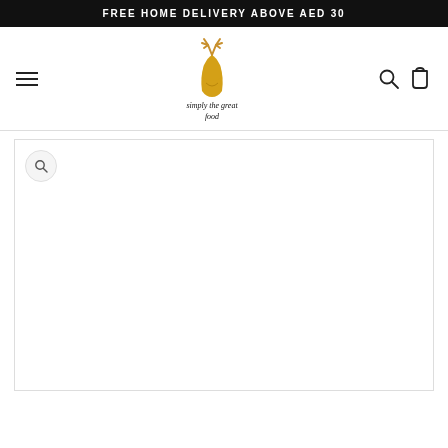FREE HOME DELIVERY ABOVE AED 30
[Figure (logo): A golden deer head silhouette logo with antlers, with italic text below reading 'simply the great food']
[Figure (screenshot): Product image area with a zoom/magnify icon button in the top-left corner, otherwise blank white content area]